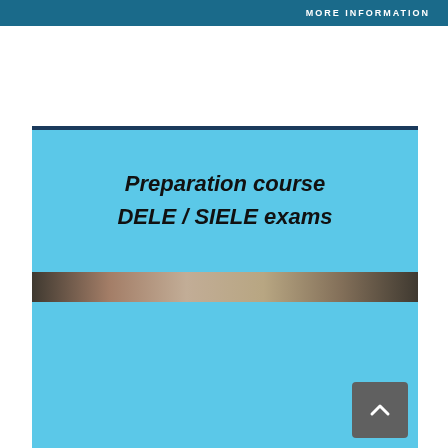MORE INFORMATION
Preparation course
DELE / SIELE exams
[Figure (photo): A horizontal strip showing a blurred photo of people or a classroom environment, used as a decorative image band between the title area and the lower blue section.]